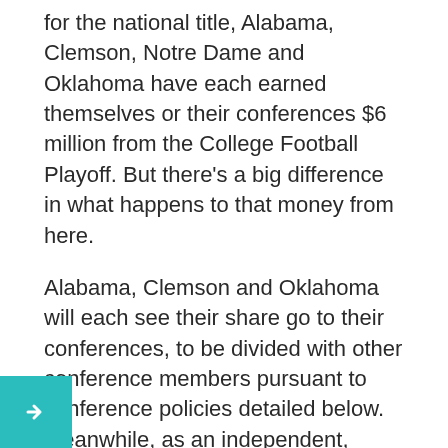for the national title, Alabama, Clemson, Notre Dame and Oklahoma have each earned themselves or their conferences $6 million from the College Football Playoff. But there’s a big difference in what happens to that money from here.
Alabama, Clemson and Oklahoma will each see their share go to their conferences, to be divided with other conference members pursuant to conference policies detailed below. Meanwhile, as an independent, Notre Dame will pocket the entire $6 million.
Here’s how the money from the semifinals breaks down for each institution after applying the policies of each conference: